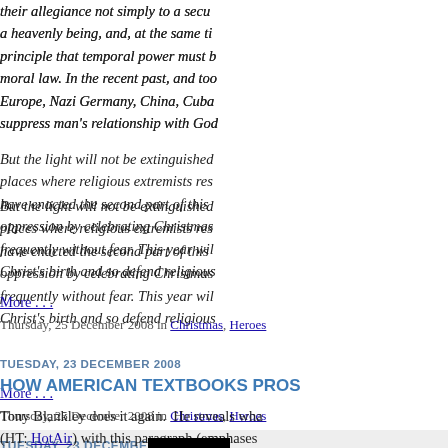their allegiance not simply to a secular ... a heavenly being, and, at the same ti... principle that temporal power must b... moral law. In the recent past, and too... Europe, Nazi Germany, China, Cuba... suppress man's relationship with Go...
But the light will not be extinguished... places where religious extremists res... have enacted the second part of this ... oppression by celebrating Christmas... frequently without fear. This year wil... Christ's birth and so defend religious...
More . . .
Thursday, 25 December 2008 in Christmas, Heroes
TUESDAY, 23 DECEMBER 2008
HOW AMERICAN TEXTBOOKS PROS...
Tony Blankley does it again.  He reveals wha... (HT: HotAir) with this paragraph (emphases...
[Figure (photo): Flag with black, red, and gold stripes (German flag)]